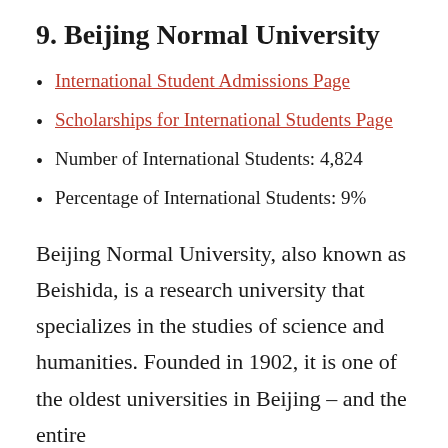9. Beijing Normal University
International Student Admissions Page
Scholarships for International Students Page
Number of International Students: 4,824
Percentage of International Students: 9%
Beijing Normal University, also known as Beishida, is a research university that specializes in the studies of science and humanities. Founded in 1902, it is one of the oldest universities in Beijing – and the entire